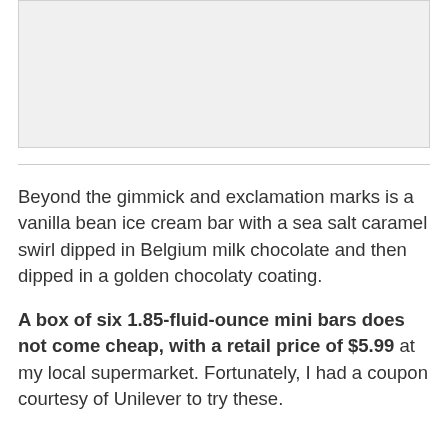[Figure (photo): Light gray placeholder image area at the top of the page]
Beyond the gimmick and exclamation marks is a vanilla bean ice cream bar with a sea salt caramel swirl dipped in Belgium milk chocolate and then dipped in a golden chocolaty coating.
A box of six 1.85-fluid-ounce mini bars does not come cheap, with a retail price of $5.99 at my local supermarket. Fortunately, I had a coupon courtesy of Unilever to try these.